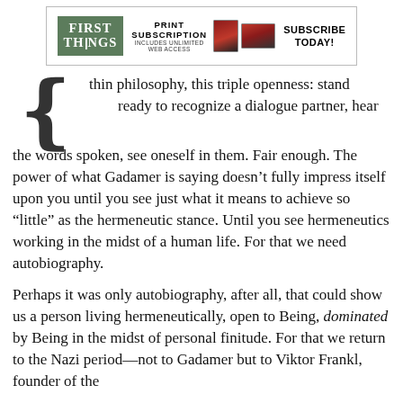[Figure (other): First Things magazine advertisement banner with logo, 'Print Subscription Includes Unlimited Web Access', magazine images, and 'Subscribe Today!' text]
thin philosophy, this triple openness: stand ready to recognize a dialogue partner, hear the words spoken, see oneself in them. Fair enough. The power of what Gadamer is saying doesn't fully impress itself upon you until you see just what it means to achieve so “little” as the hermeneutic stance. Until you see hermeneutics working in the midst of a human life. For that we need autobiography.
Perhaps it was only autobiography, after all, that could show us a person living hermeneutically, open to Being, dominated by Being in the midst of personal finitude. For that we return to the Nazi period—not to Gadamer but to Viktor Frankl, founder of the